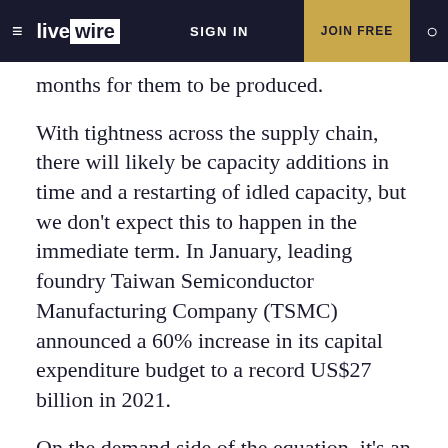≡ livewire  SIGN IN  JOIN FREE  🔍
months for them to be produced.
With tightness across the supply chain, there will likely be capacity additions in time and a restarting of idled capacity, but we don't expect this to happen in the immediate term. In January, leading foundry Taiwan Semiconductor Manufacturing Company (TSMC) announced a 60% increase in its capital expenditure budget to a record US$27 billion in 2021.
On the demand side of the equation, it's an open question as to how sustainable the 'working from home' boost will be, but we expect to see continued demand for 5G phones and gaming consoles. Currently, we are seeing good sales, with only small concerns over smartphone ordering. However,